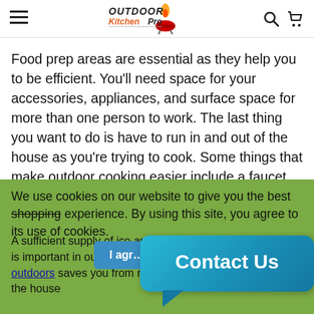Outdoor Kitchen Pro — navigation header with hamburger menu, logo, search and cart icons
Food prep areas are essential as they help you to be efficient. You'll need space for your accessories, appliances, and surface space for more than one person to work. The last thing you want to do is have to run in and out of the house as you're trying to cook. Some things that make outdoor cooking easier include a faucet and sink, side burners, pizza oven, flat-top grill, steam table, and warming drawer.
We use cookies on our website to give you the best shopping experience. By using this site, you agree to its use of cookies.
A sufficient supply of ice and th... is important in outdoor ... outdoors saves you from running in and out of the house